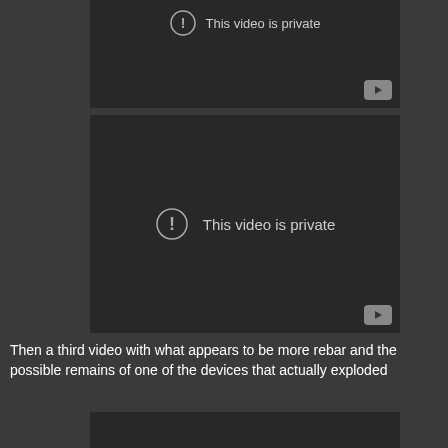[Figure (screenshot): YouTube video embed showing 'This video is private' error message (top, partially cropped)]
[Figure (screenshot): YouTube video embed showing 'This video is private' error message with exclamation icon and YouTube logo button]
Then a third video with what appears to be more rebar and the possible remains of one of the devices that actually exploded
[Figure (screenshot): Third YouTube video embed (partially visible at bottom of page, dark background)]